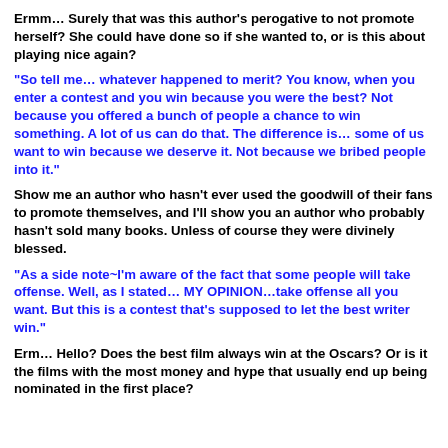Ermm… Surely that was this author's perogative to not promote herself? She could have done so if she wanted to, or is this about playing nice again?
“So tell me… whatever happened to merit? You know, when you enter a contest and you win because you were the best? Not because you offered a bunch of people a chance to win something. A lot of us can do that. The difference is… some of us want to win because we deserve it. Not because we bribed people into it.”
Show me an author who hasn’t ever used the goodwill of their fans to promote themselves, and I’ll show you an author who probably hasn’t sold many books. Unless of course they were divinely blessed.
“As a side note~I’m aware of the fact that some people will take offense. Well, as I stated… MY OPINION…take offense all you want. But this is a contest that’s supposed to let the best writer win.”
Erm… Hello? Does the best film always win at the Oscars? Or is it the films with the most money and hype that usually end up being nominated in the first place?